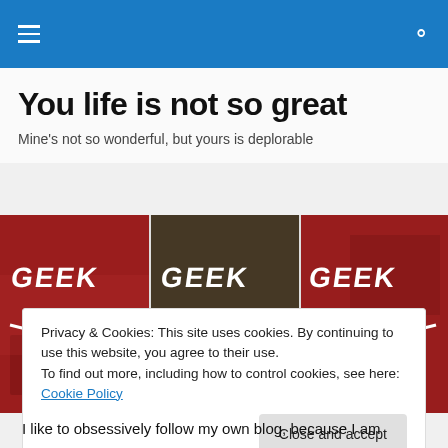Navigation bar with menu and search icons
You life is not so great
Mine's not so wonderful, but yours is deplorable
[Figure (photo): Three-panel banner image showing the word GEEK with glasses graphic in red, brown/dark, and red color variants side by side]
Privacy & Cookies: This site uses cookies. By continuing to use this website, you agree to their use.
To find out more, including how to control cookies, see here: Cookie Policy
[Close and accept button]
I like to obsessively follow my own blog, because I am